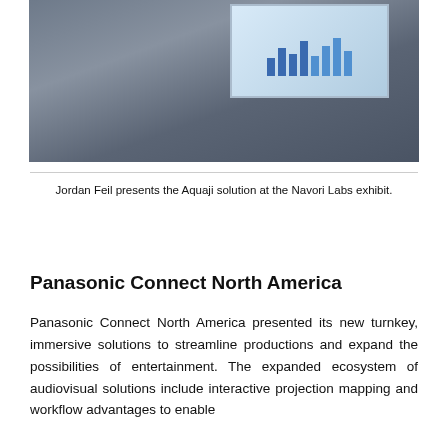[Figure (photo): A man in a dark suit with a lanyard/badge presents the Aquaji solution at a display stand with a large screen showing charts/graphs behind him at the Navori Labs exhibit.]
Jordan Feil presents the Aquaji solution at the Navori Labs exhibit.
Panasonic Connect North America
Panasonic Connect North America presented its new turnkey, immersive solutions to streamline productions and expand the possibilities of entertainment. The expanded ecosystem of audiovisual solutions include interactive projection mapping and workflow advantages to enable